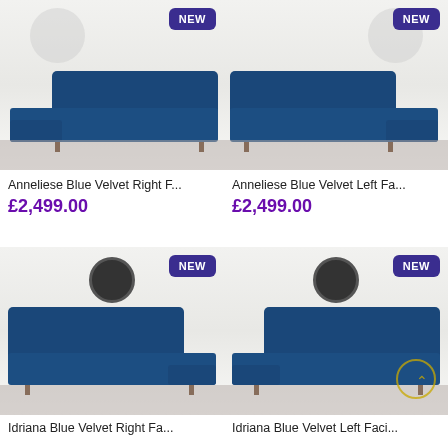[Figure (photo): Anneliese Blue Velvet Right Facing corner sofa in a white living room, marked NEW]
[Figure (photo): Anneliese Blue Velvet Left Facing corner sofa in a white living room, marked NEW]
Anneliese Blue Velvet Right F...
£2,499.00
Anneliese Blue Velvet Left Fa...
£2,499.00
[Figure (photo): Idriana Blue Velvet Right Facing corner sofa in a white living room with clock, marked NEW]
[Figure (photo): Idriana Blue Velvet Left Facing corner sofa in a white living room with clock, marked NEW]
Idriana Blue Velvet Right Fa...
Idriana Blue Velvet Left Faci...